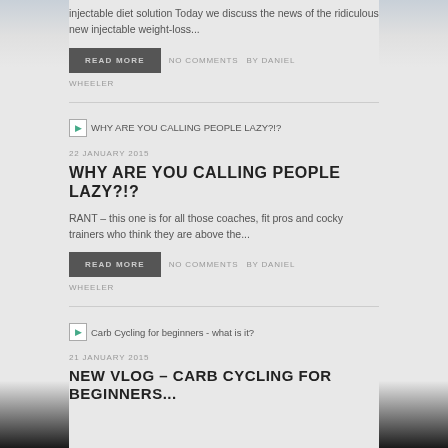injectable diet solution Today we discuss the news of the ridiculous new injectable weight-loss...
READ MORE   NO COMMENTS   BY DANIEL WHEELER
[Figure (illustration): Small thumbnail image for post: WHY ARE YOU CALLING PEOPLE LAZY?!?]
22 JANUARY 2015
WHY ARE YOU CALLING PEOPLE LAZY?!?
RANT – this one is for all those coaches, fit pros and cocky trainers who think they are above the...
READ MORE   NO COMMENTS   BY DANIEL WHEELER
[Figure (illustration): Small thumbnail image for post: Carb Cycling for beginners - what is it?]
21 JANUARY 2015
NEW VLOG – Carb Cycling for beginners...